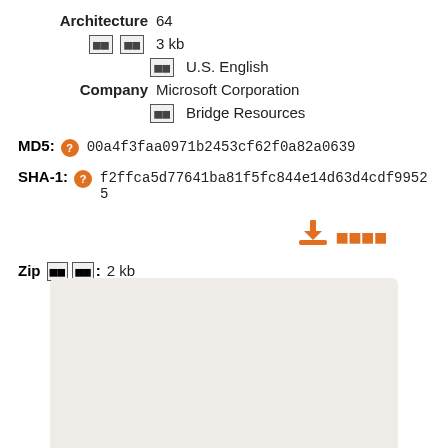Architecture  64
[garbled icon]  3 kb
[garbled]  U.S. English
Company  Microsoft Corporation
[garbled]  Bridge Resources
MD5:  00a4f3faa0971b2453cf62f0a82a0639
SHA-1:  f2ffca5d77641ba81f5fc844e14d63d4cdf99525
[download icon] [garbled download text]
Zip [garbled] [garbled]:  2 kb
[Figure (other): Gray/beige rounded rectangle area at the bottom of the page]